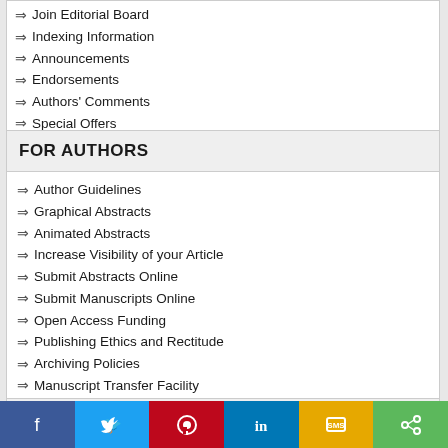⇒ Join Editorial Board
⇒ Indexing Information
⇒ Announcements
⇒ Endorsements
⇒ Authors' Comments
⇒ Special Offers
FOR AUTHORS
⇒ Author Guidelines
⇒ Graphical Abstracts
⇒ Animated Abstracts
⇒ Increase Visibility of your Article
⇒ Submit Abstracts Online
⇒ Submit Manuscripts Online
⇒ Open Access Funding
⇒ Publishing Ethics and Rectitude
⇒ Archiving Policies
⇒ Manuscript Transfer Facility
FOR GUEST EDITORS